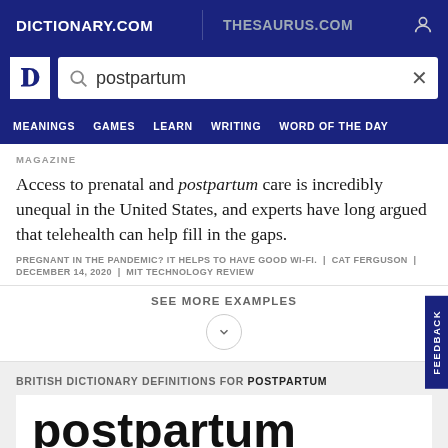DICTIONARY.COM   THESAURUS.COM
[Figure (screenshot): Dictionary.com search bar with 'postpartum' entered]
MEANINGS  GAMES  LEARN  WRITING  WORD OF THE DAY
MAGAZINE
Access to prenatal and postpartum care is incredibly unequal in the United States, and experts have long argued that telehealth can help fill in the gaps.
PREGNANT IN THE PANDEMIC? IT HELPS TO HAVE GOOD WI-FI.  |  CAT FERGUSON  |  DECEMBER 14, 2020  |  MIT TECHNOLOGY REVIEW
SEE MORE EXAMPLES
BRITISH DICTIONARY DEFINITIONS FOR POSTPARTUM
postpartum